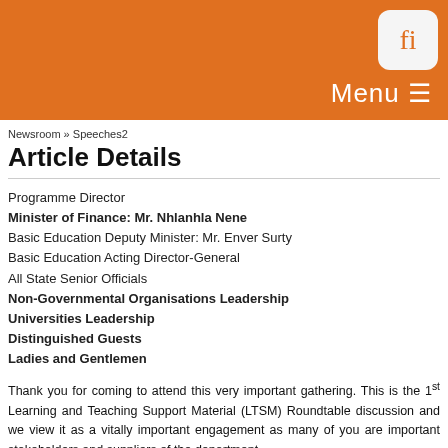Menu
Newsroom » Speeches2
Article Details
Programme Director
Minister of Finance: Mr. Nhlanhla Nene
Basic Education Deputy Minister: Mr. Enver Surty
Basic Education Acting Director-General
All State Senior Officials
Non-Governmental Organisations Leadership
Universities Leadership
Distinguished Guests
Ladies and Gentlemen
Thank you for coming to attend this very important gathering. This is the 1st Learning and Teaching Support Material (LTSM) Roundtable discussion and we view it as a vitally important engagement as many of you are important stakeholders and suppliers of the department. I am hoping that today's discussion would have assist in demystifying the myths around Learning and Teaching Support Materials (LTSM) and in the process strengthen the strategic partnership between